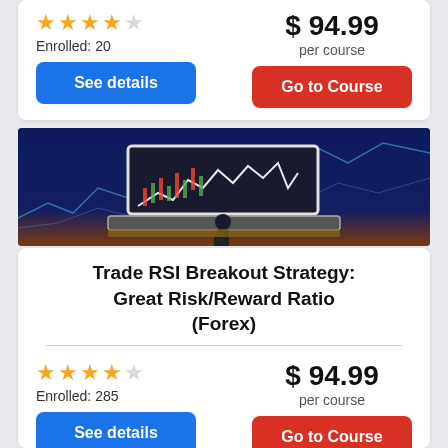Enrolled: 20
$ 94.99 per course
[Figure (photo): Person standing in front of a giant laptop screen displaying a trading chart, with a dark blue finance-themed background with glowing charts and graphs.]
Trade RSI Breakout Strategy: Great Risk/Reward Ratio (Forex)
Enrolled: 285
$ 94.99 per course